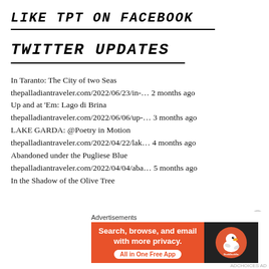LIKE TPT ON FACEBOOK
TWITTER UPDATES
In Taranto: The City of two Seas thepalladiantraveler.com/2022/06/23/in-… 2 months ago Up and at 'Em: Lago di Brina thepalladiantraveler.com/2022/06/06/up-… 3 months ago LAKE GARDA: @Poetry in Motion thepalladiantraveler.com/2022/04/22/lak… 4 months ago Abandoned under the Pugliese Blue thepalladiantraveler.com/2022/04/04/aba… 5 months ago In the Shadow of the Olive Tree
[Figure (infographic): DuckDuckGo advertisement banner: 'Search, browse, and email with more privacy. All in One Free App' with DuckDuckGo duck logo on dark right panel]